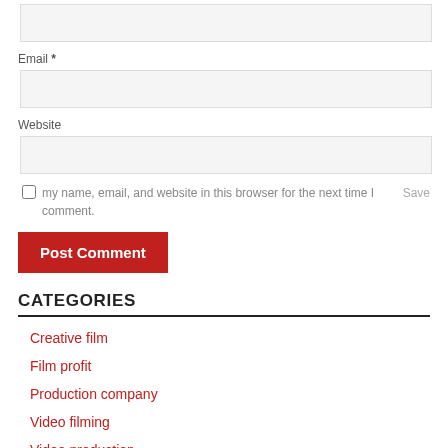Email *
Website
Save my name, email, and website in this browser for the next time I comment.
Post Comment
CATEGORIES
Creative film
Film profit
Production company
Video filming
Video production